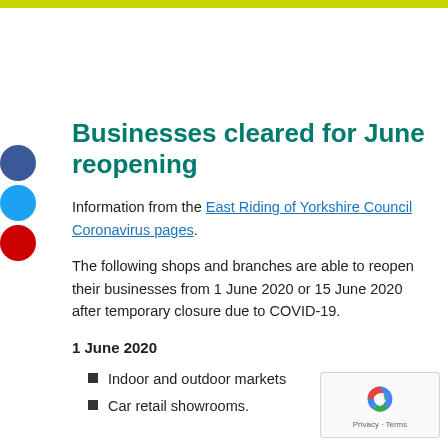Businesses cleared for June reopening
Information from the East Riding of Yorkshire Council Coronavirus pages.
The following shops and branches are able to reopen their businesses from 1 June 2020 or 15 June 2020 after temporary closure due to COVID-19.
1 June 2020
Indoor and outdoor markets
Car retail showrooms.